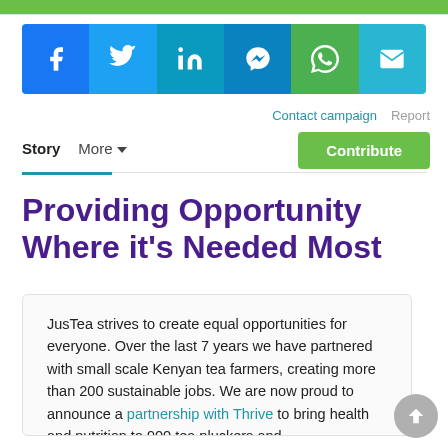[Figure (infographic): Social share buttons bar with icons for Facebook, Twitter, LinkedIn, Messenger, WhatsApp, and Email on colored backgrounds]
Contact campaign   Report
Story   More ▾
Contribute
Providing Opportunity Where it's Needed Most
JusTea strives to create equal opportunities for everyone. Over the last 7 years we have partnered with small scale Kenyan tea farmers, creating more than 200 sustainable jobs. We are now proud to announce a partnership with Thrive to bring health and nutrition to 900 tea pluckers and